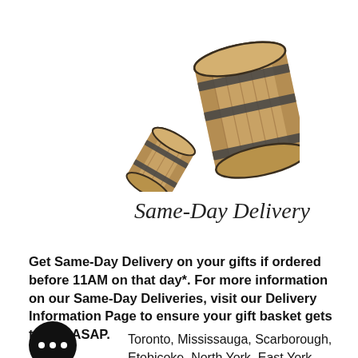[Figure (photo): Two wooden barrels, one larger standing upright and one smaller tilted against it, on a white background.]
Same-Day Delivery
Get Same-Day Delivery on your gifts if ordered before 11AM on that day*. For more information on our Same-Day Deliveries, visit our Delivery Information Page to ensure your gift basket gets to you ASAP.
[Figure (illustration): Black chat bubble icon with three dots inside.]
Toronto, Mississauga, Scarborough, Etobicoke, North York, East York,